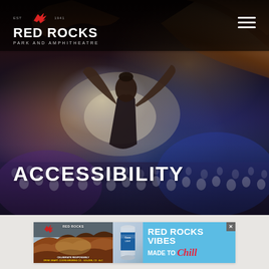[Figure (photo): Red Rocks Park and Amphitheatre website screenshot showing a hero image of a concert performer with arms raised facing a large crowd at night with blue and purple stage lighting, rock formations visible in background]
RED ROCKS PARK AND AMPHITHEATRE
ACCESSIBILITY
[Figure (screenshot): Red Rocks Vibes - Made to Chill advertisement banner featuring Red Rocks amphitheatre photo on left, Coors Light can in center, and text RED ROCKS VIBES MADE TO Chill on blue background on right with X close button]